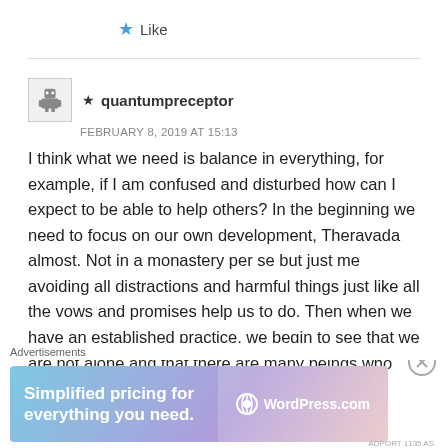★ Like
★ quantumpreceptor
FEBRUARY 8, 2019 AT 15:13
I think what we need is balance in everything, for example, if I am confused and disturbed how can I expect to be able to help others? In the beginning we need to focus on our own development, Theravada almost. Not in a monastery per se but just me avoiding all distractions and harmful things just like all the vows and promises help us to do. Then when we have an established practice, we begin to see that we are not alone and that there are many beings who suffer, Mahayana, and we
Advertisements
[Figure (other): WordPress.com advertisement banner: 'Simplified pricing for everything you need.' with WordPress.com logo]